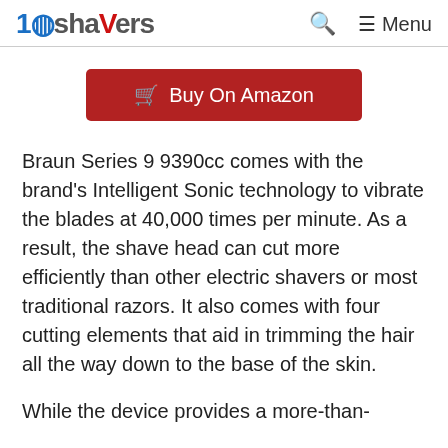10Shavers | Menu
Buy On Amazon
Braun Series 9 9390cc comes with the brand’s Intelligent Sonic technology to vibrate the blades at 40,000 times per minute. As a result, the shave head can cut more efficiently than other electric shavers or most traditional razors. It also comes with four cutting elements that aid in trimming the hair all the way down to the base of the skin.
While the device provides a more-than-decent look for for a more-with a more